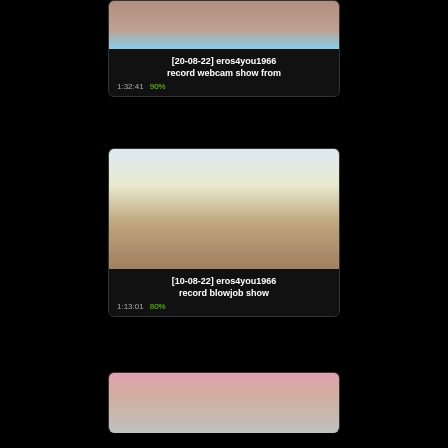[Figure (screenshot): Thumbnail image of webcam show, skin tones with light blue background]
[20-08-22] eros4you1966 record webcam show from
1:32:41  90%
[Figure (screenshot): Thumbnail of man in open white shirt showing torso]
[10-08-22] eros4you1966 record blowjob show
1:13:01  80%
[Figure (screenshot): Thumbnail of close-up face with beard and pink area]